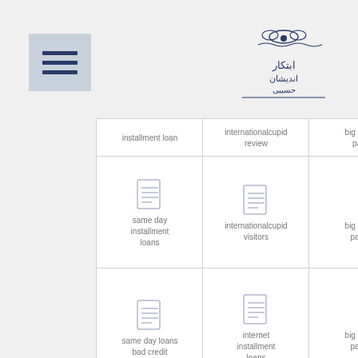[Figure (logo): Menu hamburger icon (three horizontal lines on blue-gray background)]
[Figure (logo): Persian/Arabic script logo with decorative illustration]
| installment loan | internationalcupid review | big picture loans payday loan |
| same day installment loans | internationalcupid visitors | big picture loans payday loans |
| same day loans bad credit | internet installment loans | big picture loans payday loans near me |
| same day online payday loans | internet payday loans | Biker Dating Sites site |